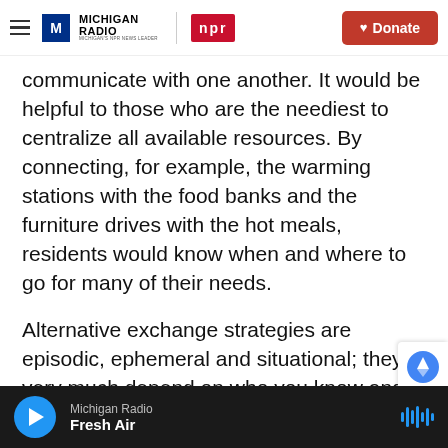Michigan Radio | NPR | Donate
communicate with one another. It would be helpful to those who are the neediest to centralize all available resources. By connecting, for example, the warming stations with the food banks and the furniture drives with the hot meals, residents would know when and where to go for many of their needs.
Alternative exchange strategies are episodic, ephemeral and situational; they very much depend on who you know and what they know. What is also needed is a cohesive and more interconnected system of enterprises and organizations, all s
Michigan Radio | Fresh Air